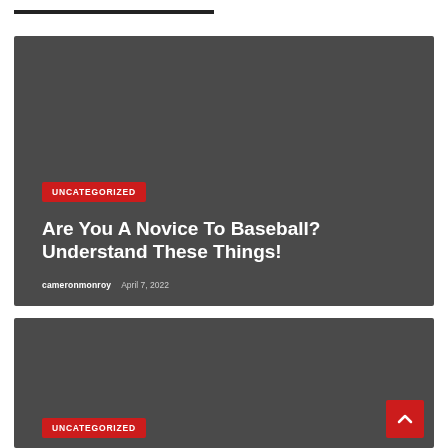[Figure (other): Article card with dark gray background for baseball article]
UNCATEGORIZED
Are You A Novice To Baseball? Understand These Things!
cameronmonroy   April 7, 2022
[Figure (other): Second article card with dark gray background, partially visible]
UNCATEGORIZED